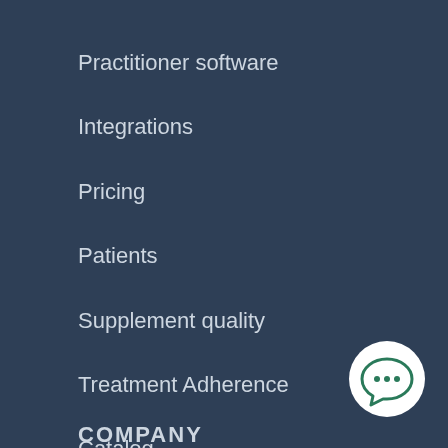Practitioner software
Integrations
Pricing
Patients
Supplement quality
Treatment Adherence
Catalog
Wholesale
[Figure (illustration): White circular chat bubble icon with three dots inside, on dark navy background]
COMPANY